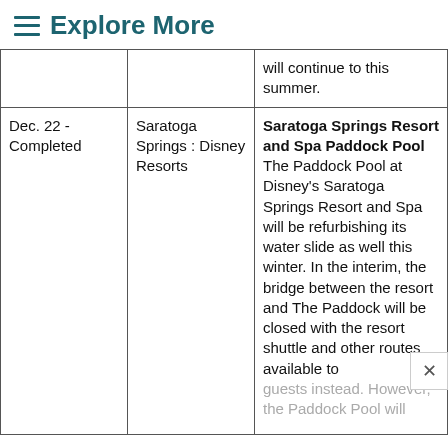≡ Explore More
| Date | Location | Description |
| --- | --- | --- |
|  |  | will continue to this summer. |
| Dec. 22 - Completed | Saratoga Springs : Disney Resorts | Saratoga Springs Resort and Spa Paddock Pool The Paddock Pool at Disney's Saratoga Springs Resort and Spa will be refurbishing its water slide as well this winter. In the interim, the bridge between the resort and The Paddock will be closed with the resort shuttle and other routes available to guests instead. However, the Paddock Pool will |